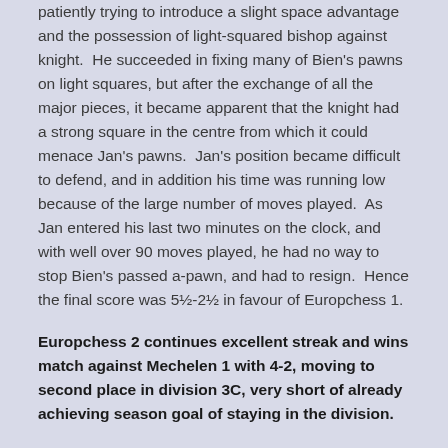patiently trying to introduce a slight space advantage and the possession of light-squared bishop against knight. He succeeded in fixing many of Bien's pawns on light squares, but after the exchange of all the major pieces, it became apparent that the knight had a strong square in the centre from which it could menace Jan's pawns. Jan's position became difficult to defend, and in addition his time was running low because of the large number of moves played. As Jan entered his last two minutes on the clock, and with well over 90 moves played, he had no way to stop Bien's passed a-pawn, and had to resign. Hence the final score was 5½-2½ in favour of Europchess 1.
Europchess 2 continues excellent streak and wins match against Mechelen 1 with 4-2, moving to second place in division 3C, very short of already achieving season goal of staying in the division.
The first game to finish, after just about one hour, was the one on board 6, Velibor Novakovic (1903), White, against Kristian Frederiksen (1841). White played a notoriously drawish variation against Black's defence; queens came off very quickly and an